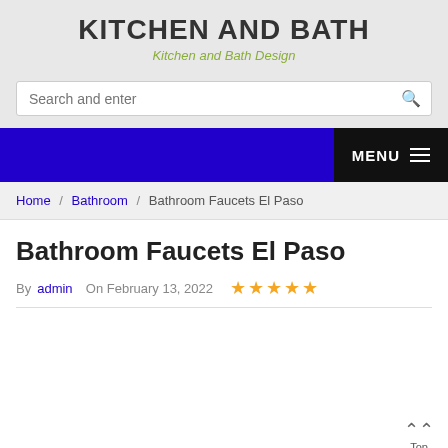KITCHEN AND BATH
Kitchen and Bath Design
Search and enter
MENU
Home / Bathroom / Bathroom Faucets El Paso
Bathroom Faucets El Paso
By admin  On February 13, 2022  ★★★★★